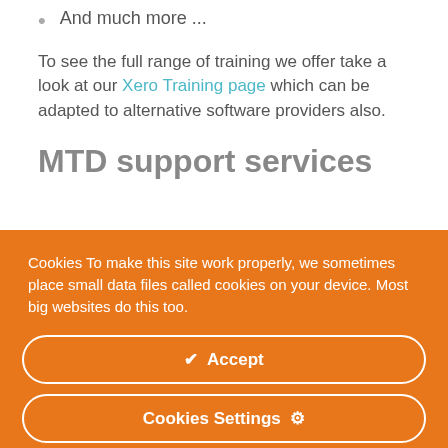And much more ...
To see the full range of training we offer take a look at our Xero Training page which can be adapted to alternative software providers also.
MTD support services
Cookies To make this site work properly, we sometimes place small data files called cookies on your device. Most big websites do this too.
✔  Accept
Cookies Settings  ⚙